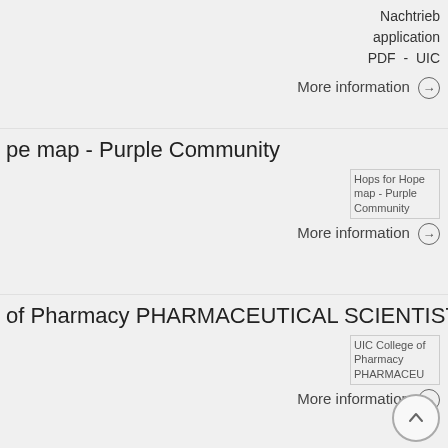Nachtrieb application PDF - UIC
More information →
Hops for Hope map - Purple Community
[Figure (photo): Hops for Hope map - Purple Community image placeholder]
More information →
UIC College of Pharmacy PHARMACEUTICAL SCIENTIST
[Figure (photo): UIC College of Pharmacy PHARMACEUTICAL SCIENTIST image placeholder]
More information →